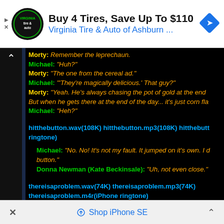[Figure (screenshot): Advertisement banner: Buy 4 Tires, Save Up To $110, Virginia Tire & Auto of Ashburn ...]
Morty: Remember the leprechaun.
Michael: "Huh?"
Morty: "The one from the cereal ad."
Michael: "'They're magically delicious.' That guy?"
Morty: "Yeah. He's always chasing the pot of gold at the end... But when he gets there at the end of the day... it's just corn fla..."
Michael: "Heh?"
hitthebutton.wav(108K) hitthebutton.mp3(108K) hitthebutton...(iPhone ringtone)
Michael: "No. No! It's not my fault. It jumped on it's own. I d... button."
Donna Newman (Kate Beckinsale): "Uh, not even close."
thereisaproblem.wav(74K) thereisaproblem.mp3(74K) thereisaproblem.m4r(iPhone ringtone)
Shop iPhone SE